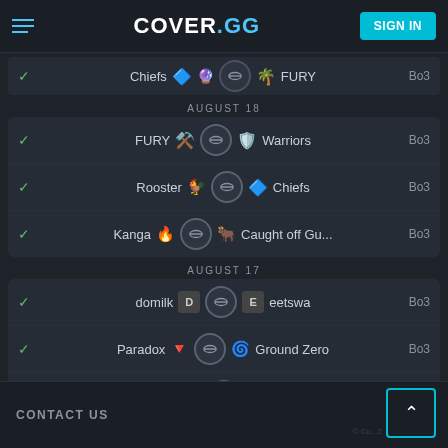COVER.GG — SIGN IN
Chiefs vs FURY — Bo3
AUGUST 18
FURY vs Warriors — Bo3
Rooster vs Chiefs — Bo3
Kanga vs Caught off Gu... — Bo3
AUGUST 17
domilk vs eetswa — Bo3
Paradox vs Ground Zero — Bo3
Lese vs Alke — Bo3
CONTACT US